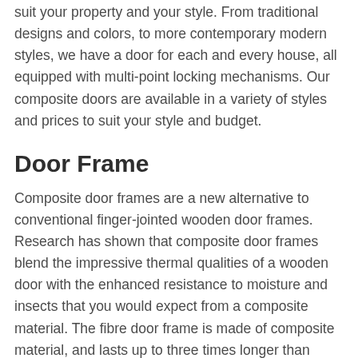suit your property and your style. From traditional designs and colors, to more contemporary modern styles, we have a door for each and every house, all equipped with multi-point locking mechanisms. Our composite doors are available in a variety of styles and prices to suit your style and budget.
Door Frame
Composite door frames are a new alternative to conventional finger-jointed wooden door frames. Research has shown that composite door frames blend the impressive thermal qualities of a wooden door with the enhanced resistance to moisture and insects that you would expect from a composite material. The fibre door frame is made of composite material, and lasts up to three times longer than